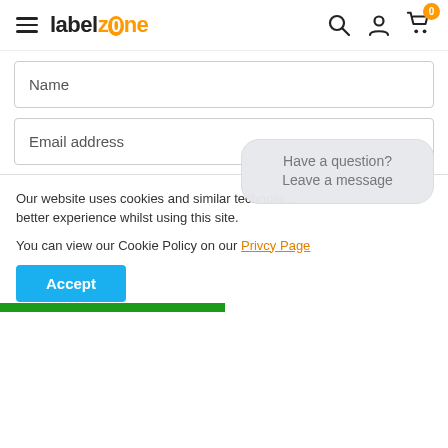[Figure (screenshot): labelzone website header with hamburger menu, logo (label in black, zone in orange with circle-O), search icon, user icon, and cart icon with orange badge showing 0]
Name
Email address
Phone Number
Details of your enquiry
Have a question? Leave a message
Our website uses cookies and similar technolo… better experience whilst using this site.
You can view our Cookie Policy on our Privcy Page
Accept